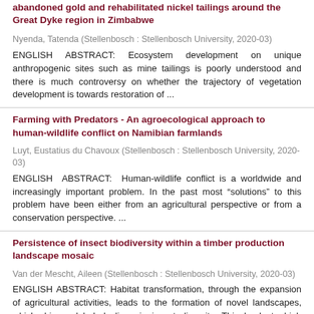abandoned gold and rehabilitated nickel tailings around the Great Dyke region in Zimbabwe
Nyenda, Tatenda (Stellenbosch : Stellenbosch University, 2020-03)
ENGLISH ABSTRACT: Ecosystem development on unique anthropogenic sites such as mine tailings is poorly understood and there is much controversy on whether the trajectory of vegetation development is towards restoration of ...
Farming with Predators - An agroecological approach to human-wildlife conflict on Namibian farmlands
Luyt, Eustatius du Chavoux (Stellenbosch : Stellenbosch University, 2020-03)
ENGLISH ABSTRACT: Human-wildlife conflict is a worldwide and increasingly important problem. In the past most “solutions” to this problem have been either from an agricultural perspective or from a conservation perspective. ...
Persistence of insect biodiversity within a timber production landscape mosaic
Van der Mescht, Aileen (Stellenbosch : Stellenbosch University, 2020-03)
ENGLISH ABSTRACT: Habitat transformation, through the expansion of agricultural activities, leads to the formation of novel landscapes, which drives global declines in insect diversity. This leads to high contrast between...